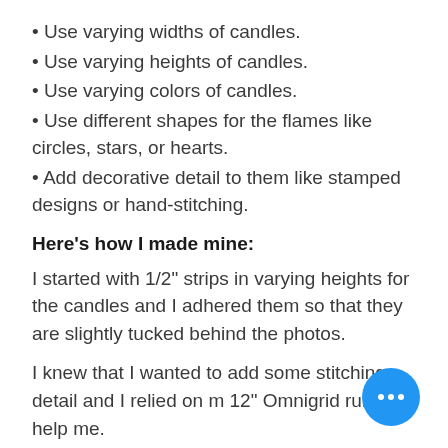Use varying widths of candles.
Use varying heights of candles.
Use varying colors of candles.
Use different shapes for the flames like circles, stars, or hearts.
Add decorative detail to them like stamped designs or hand-stitching.
Here's how I made mine:
I started with 1/2" strips in varying heights for the candles and I adhered them so that they are slightly tucked behind the photos.
I knew that I wanted to add some stitching detail and I relied on m 12" Omnigrid ruler to help me.